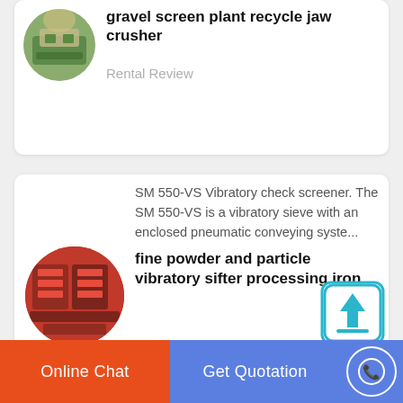gravel screen plant recycle jaw crusher
Rental Review
[Figure (photo): Circular thumbnail of gravel screen plant/jaw crusher equipment outdoors]
[Figure (photo): Circular thumbnail of red industrial vibratory screening machinery]
SM 550-VS Vibratory check screener. The SM 550-VS is a vibratory sieve with an enclosed pneumatic conveying syste...
fine powder and particle vibratory sifter processing iron
Online Chat
Get Quotation